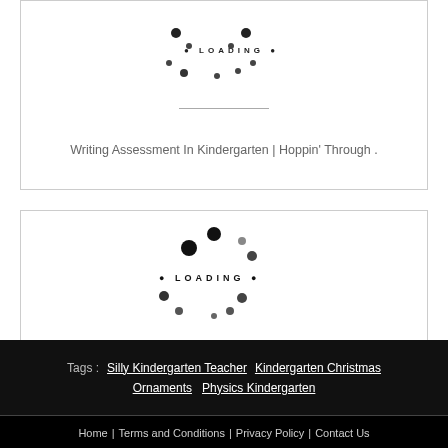[Figure (other): Loading spinner animation placeholder for Writing Assessment In Kindergarten article card]
Writing Assessment In Kindergarten | Hoppin' Through .
[Figure (other): Loading spinner animation placeholder for Teaching Revision In Kindergarten Writing article card]
Teaching Revision In Kindergarten Writing! You Got It .
Tags :  Silly Kindergarten Teacher   Kindergarten Christmas Ornaments   Physics Kindergarten
Home | Terms and Conditions | Privacy Policy | Contact Us